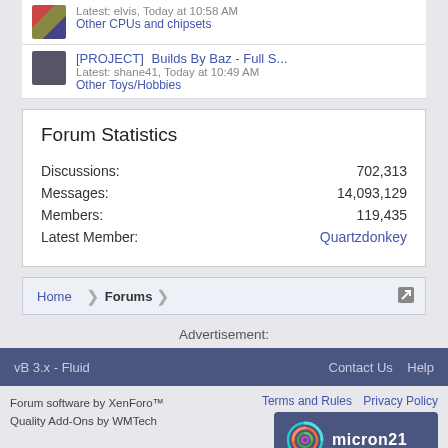Latest: elvis, Today at 10:58 AM
Other CPUs and chipsets
[PROJECT] Builds By Baz - Full S...
Latest: shane41, Today at 10:49 AM
Other Toys/Hobbies
Forum Statistics
|  |  |
| --- | --- |
| Discussions: | 702,313 |
| Messages: | 14,093,129 |
| Members: | 119,435 |
| Latest Member: | Quartzdonkey |
Home  Forums
Advertisement:
vB 3.x - Fluid   Contact Us   Help
Forum software by XenForo™  Quality Add-Ons by WMTech   Terms and Rules  Privacy Policy
[Figure (logo): Micron21 logo badge with circular swirl graphic and white text on dark blue background]